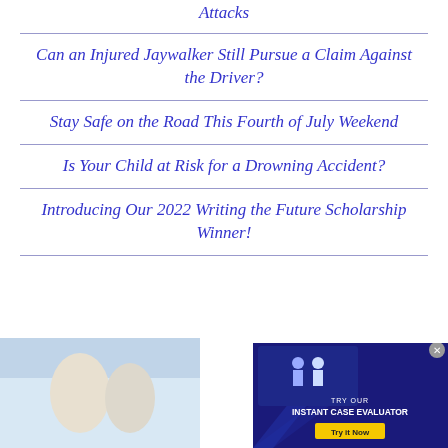Attacks
Can an Injured Jaywalker Still Pursue a Claim Against the Driver?
Stay Safe on the Road This Fourth of July Weekend
Is Your Child at Risk for a Drowning Accident?
Introducing Our 2022 Writing the Future Scholarship Winner!
[Figure (screenshot): Advertisement banner: TRY OUR INSTANT CASE EVALUATOR with Try It Now button, and a photo of people in lower left]
[Figure (photo): Partial photo of people visible at bottom left]